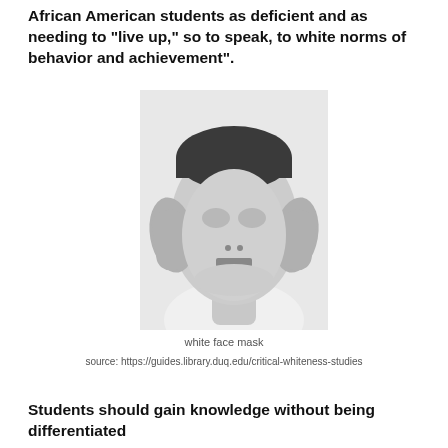African American students as deficient and as needing to "live up," so to speak, to white norms of behavior and achievement".
[Figure (photo): Black and white photograph of a person holding a smooth featureless white face mask (with closed eye sockets and a rectangular mouth) up to their face with both hands pressed to the sides of the mask.]
white face mask
source: https://guides.library.duq.edu/critical-whiteness-studies
Students should gain knowledge without being differentiated